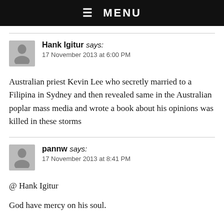☰ MENU
Hank Igitur says:
17 November 2013 at 6:00 PM
Australian priest Kevin Lee who secretly married to a Filipina in Sydney and then revealed same in the Australian poplar mass media and wrote a book about his opinions was killed in these storms
pannw says:
17 November 2013 at 8:41 PM
@ Hank Igitur
God have mercy on his soul.